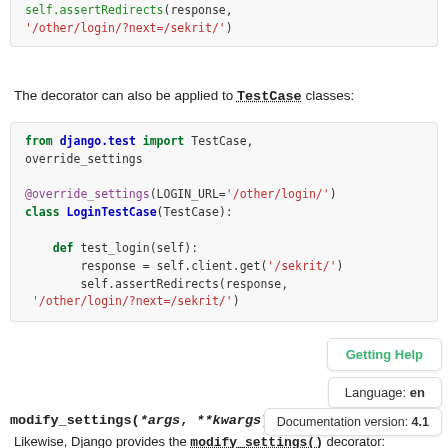[Figure (screenshot): Code block showing self.assertRedirects(response, '/other/login/?next=/sekrit/')]
The decorator can also be applied to TestCase classes:
[Figure (screenshot): Code block: from django.test import TestCase, override_settings; @override_settings(LOGIN_URL='/other/login/') class LoginTestCase(TestCase): def test_login(self): response = self.client.get('/sekrit/') self.assertRedirects(response, '/other/login/?next=/sekrit/')]
Getting Help
Language: en
Documentation version: 4.1
modify_settings(*args, **kwargs)
Likewise, Django provides the modify_settings() decorator: